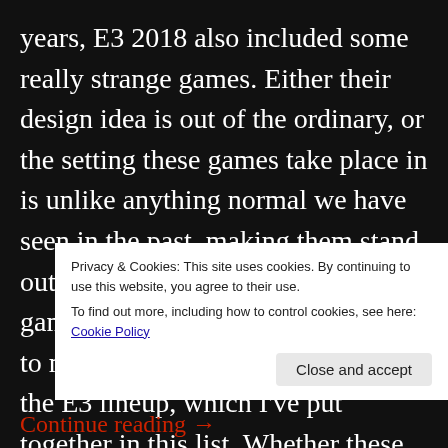years, E3 2018 also included some really strange games. Either their design idea is out of the ordinary, or the setting these games take place in is unlike anything normal we have seen in the past, making them stand out from the crowd. A few of these games feature totally absurd ideas to make them really oddball from the E3 lineup, which I've put together in this list. Whether these titles have potential to surprise us, or simply give players an interesting c[...]t f[...] f[...]
Privacy & Cookies: This site uses cookies. By continuing to use this website, you agree to their use.
To find out more, including how to control cookies, see here: Cookie Policy
Close and accept
Continue reading →